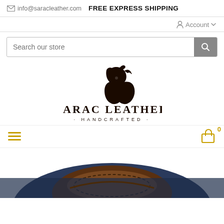✉ info@saracleather.com   FREE EXPRESS SHIPPING
Account ∨
Search our store
[Figure (logo): Sarac Leather Handcrafted logo — horse head silhouette above the text SARAC LEATHER · HANDCRAFTED ·]
[Figure (other): Hamburger menu icon (three horizontal gold lines) on the left, shopping bag icon with 0 count on the right]
[Figure (photo): Partial view of a dark leather saddle or equestrian leather product at the bottom of the page]